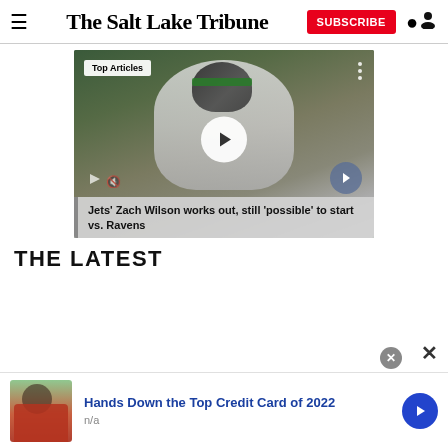The Salt Lake Tribune
[Figure (screenshot): Video thumbnail showing Jets quarterback Zach Wilson in uniform holding a football, with a play button overlay. Badge reading 'Top Articles' in top left. Next arrow button in bottom right.]
Jets' Zach Wilson works out, still 'possible' to start vs. Ravens
THE LATEST
[Figure (photo): Advertisement showing a woman blowing a kiss, promoting a credit card offer.]
Hands Down the Top Credit Card of 2022
n/a